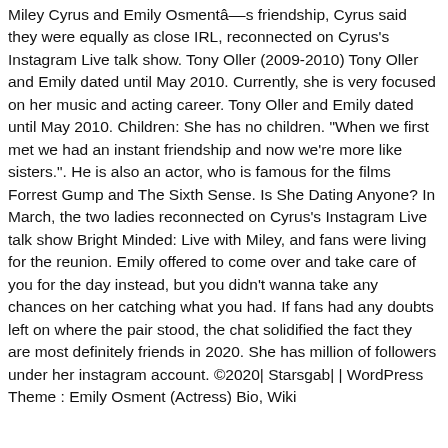Miley Cyrus and Emily Osmentâ€™s friendship, Cyrus said they were equally as close IRL, reconnected on Cyrus's Instagram Live talk show. Tony Oller (2009-2010) Tony Oller and Emily dated until May 2010. Currently, she is very focused on her music and acting career. Tony Oller and Emily dated until May 2010. Children: She has no children. "When we first met we had an instant friendship and now we're more like sisters.". He is also an actor, who is famous for the films Forrest Gump and The Sixth Sense. Is She Dating Anyone? In March, the two ladies reconnected on Cyrus's Instagram Live talk show Bright Minded: Live with Miley, and fans were living for the reunion. Emily offered to come over and take care of you for the day instead, but you didn't wanna take any chances on her catching what you had. If fans had any doubts left on where the pair stood, the chat solidified the fact they are most definitely friends in 2020. She has million of followers under her instagram account. ©2020| Starsgab| | WordPress Theme : Emily Osment (Actress) Bio, Wiki